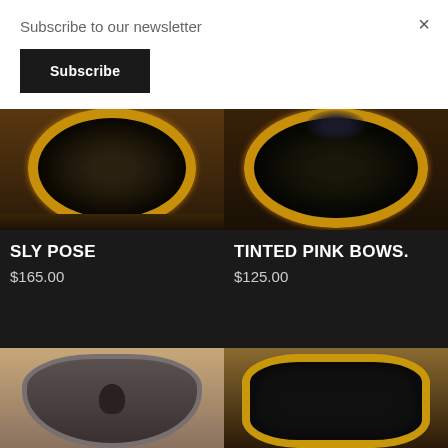Subscribe to our newsletter
Subscribe
×
SLY POSE
$165.00
TINTED PINK BOWS.
$125.00
[Figure (photo): Antique daguerreotype portrait in gold oval frame, top portion of image]
[Figure (photo): Antique daguerreotype portrait with figure in dotted dress in gold oval frame, top portion]
[Figure (photo): Antique daguerreotype portrait in rounded frame, woman with dark hair, partially visible]
[Figure (photo): Antique daguerreotype portrait in ornate gold frame, two people, partially visible]